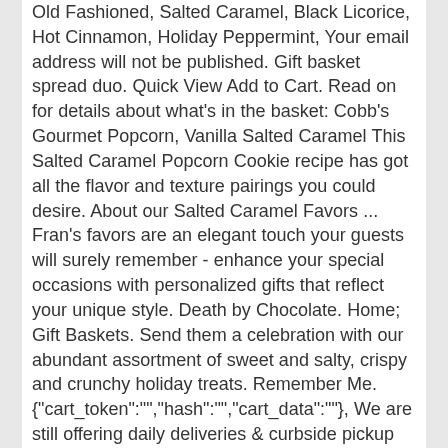Old Fashioned, Salted Caramel, Black Licorice, Hot Cinnamon, Holiday Peppermint, Your email address will not be published. Gift basket spread duo. Quick View Add to Cart. Read on for details about what's in the basket: Cobb's Gourmet Popcorn, Vanilla Salted Caramel This Salted Caramel Popcorn Cookie recipe has got all the flavor and texture pairings you could desire. About our Salted Caramel Favors ... Fran's favors are an elegant touch your guests will surely remember - enhance your special occasions with personalized gifts that reflect your unique style. Death by Chocolate. Home; Gift Baskets. Send them a celebration with our abundant assortment of sweet and salty, crispy and crunchy holiday treats. Remember Me. {"cart_token":"","hash":"","cart_data":""}, We are still offering daily deliveries & curbside pickup during the COVID-19 situation. Required fields are marked * Your rating * Your review * Name * Email * Related products. Check out some of the most popular ideas for white wine gifts that are sure to … 5 stars 235. Large Gift Box includes: Three 8 oz bags of Uncle Hoss's Crisscross Crunch (You Choose) Salted Caramel. Reviews There are no reviews yet. 1 star 25. The reusable woven wood basket is overflowing with premium confections, from four kinds of hand-dipped caramel apples